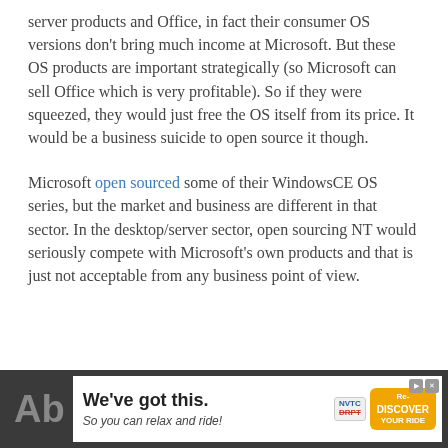server products and Office, in fact their consumer OS versions don't bring much income at Microsoft. But these OS products are important strategically (so Microsoft can sell Office which is very profitable). So if they were squeezed, they would just free the OS itself from its price. It would be a business suicide to open source it though.
Microsoft open sourced some of their WindowsCE OS series, but the market and business are different in that sector. In the desktop/server sector, open sourcing NT would seriously compete with Microsoft's own products and that is just not acceptable from any business point of view.
[Figure (other): Advertisement banner: 'We've got this. So you can relax and ride!' with NVTC DRPT and Re-DISCOVER YOUR RIDE logos, shown in a dark footer bar with 'Ab' text and a close button.]